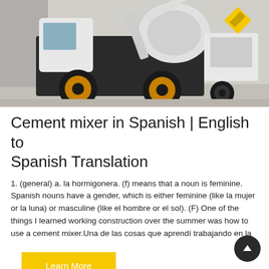[Figure (photo): A white cement mixer / concrete mixer truck with black frame and yellow wheels, photographed outdoors on a construction site.]
Cement mixer in Spanish | English to Spanish Translation
1. (general) a. la hormigonera. (f) means that a noun is feminine. Spanish nouns have a gender, which is either feminine (like la mujer or la luna) or masculine (like el hombre or el sol). (F) One of the things I learned working construction over the summer was how to use a cement mixer.Una de las cosas que aprendí trabajando en la
Learn More